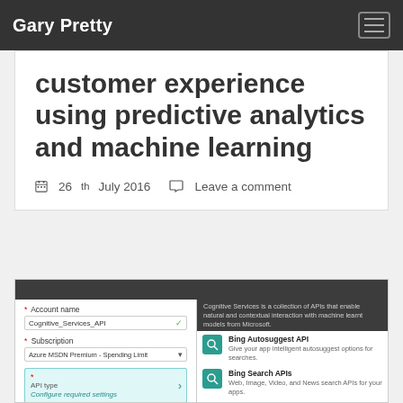Gary Pretty
customer experience using predictive analytics and machine learning
26th July 2016   Leave a comment
[Figure (screenshot): Azure Cognitive Services account creation form on the left with fields: Account name (Cognitive_Services_API), Subscription (Azure MSDN Premium - Spending Limit), API type (Configure required settings - highlighted in blue), Pricing tier (Configure required settings - disabled). On the right, a dark top bar with description text about Cognitive Services APIs, followed by a list of APIs: Bing Autosuggest API, Bing Search APIs, Bing Speech API (preview), Bing Spell Check API, Emotion API (preview).]